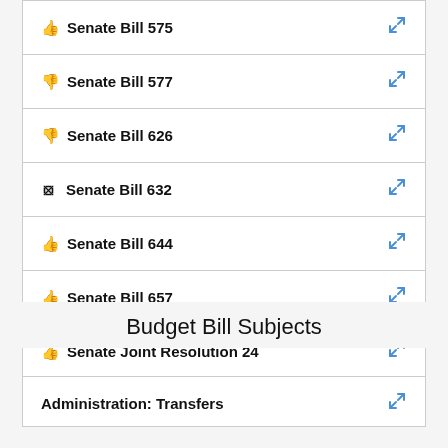👍 Senate Bill 575
👎 Senate Bill 577
👎 Senate Bill 626
⊗ Senate Bill 632
👍 Senate Bill 644
👍 Senate Bill 657
👍 Senate Joint Resolution 24
Budget Bill Subjects
Administration: Transfers